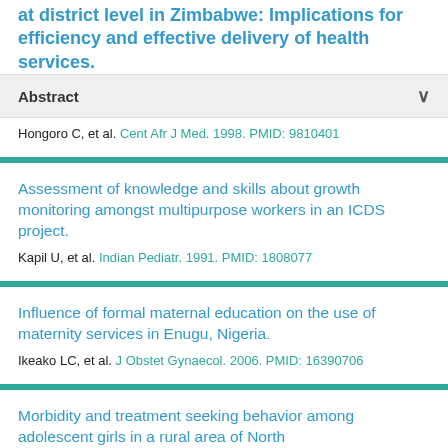at district level in Zimbabwe: Implications for efficiency and effective delivery of health services.
Abstract
Hongoro C, et al. Cent Afr J Med. 1998. PMID: 9810401
Assessment of knowledge and skills about growth monitoring amongst multipurpose workers in an ICDS project.
Kapil U, et al. Indian Pediatr. 1991. PMID: 1808077
Influence of formal maternal education on the use of maternity services in Enugu, Nigeria.
Ikeako LC, et al. J Obstet Gynaecol. 2006. PMID: 16390706
Morbidity and treatment seeking behavior among adolescent girls in a rural area of North